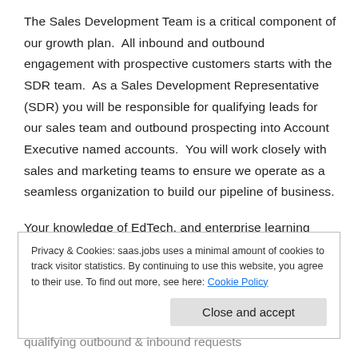The Sales Development Team is a critical component of our growth plan.  All inbound and outbound engagement with prospective customers starts with the SDR team.  As a Sales Development Representative (SDR) you will be responsible for qualifying leads for our sales team and outbound prospecting into Account Executive named accounts.  You will work closely with sales and marketing teams to ensure we operate as a seamless organization to build our pipeline of business.
Your knowledge of EdTech, and enterprise learning combined with superior communication skills and analytical abilities, will shape Coursera's B2B business to help us
Privacy & Cookies: saas.jobs uses a minimal amount of cookies to track visitor statistics. By continuing to use this website, you agree to their use. To find out more, see here: Cookie Policy
Close and accept
qualifying outbound & inbound requests